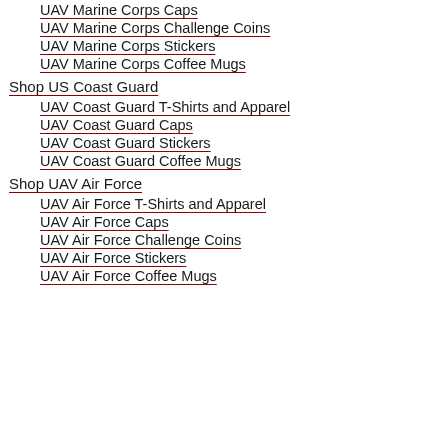UAV Marine Corps Caps
UAV Marine Corps Challenge Coins
UAV Marine Corps Stickers
UAV Marine Corps Coffee Mugs
Shop US Coast Guard
UAV Coast Guard T-Shirts and Apparel
UAV Coast Guard Caps
UAV Coast Guard Stickers
UAV Coast Guard Coffee Mugs
Shop UAV Air Force
UAV Air Force T-Shirts and Apparel
UAV Air Force Caps
UAV Air Force Challenge Coins
UAV Air Force Stickers
UAV Air Force Coffee Mugs